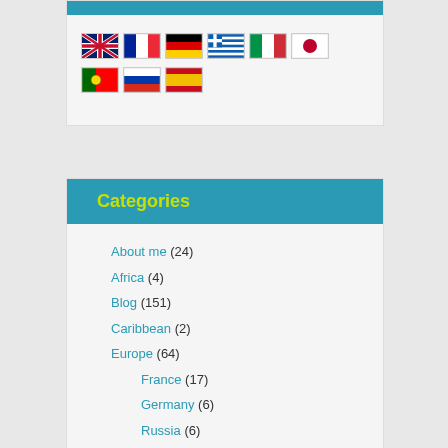[Figure (illustration): Row of flag icons: UK, France, Germany, Greece, Italy, Japan flags on first row; Portugal, Russia, Spain flags on second row]
Categories
About me (24)
Africa (4)
Blog (151)
Caribbean (2)
Europe (64)
France (17)
Germany (6)
Russia (6)
Spain (1)
Switzerland (5)
Greece (59)